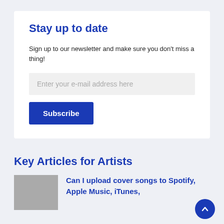Stay up to date
Sign up to our newsletter and make sure you don't miss a thing!
Enter your e-mail address here
Subscribe
Key Articles for Artists
Can I upload cover songs to Spotify, Apple Music, iTunes,